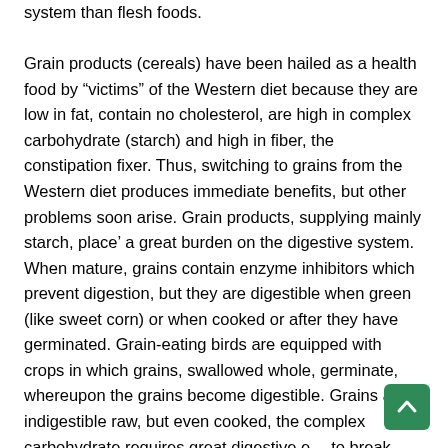system than flesh foods.

Grain products (cereals) have been hailed as a health food by “victims” of the Western diet because they are low in fat, contain no cholesterol, are high in complex carbohydrate (starch) and high in fiber, the constipation fixer. Thus, switching to grains from the Western diet produces immediate benefits, but other problems soon arise. Grain products, supplying mainly starch, place’ a great burden on the digestive system. When mature, grains contain enzyme inhibitors which prevent digestion, but they are digestible when green (like sweet corn) or when cooked or after they have germinated. Grain-eating birds are equipped with crops in which grains, swallowed whole, germinate, whereupon the grains become digestible. Grains are indigestible raw, but even cooked, the complex carbohydrate requires great digestive e… to break down, and this is demonstrated by the fact that